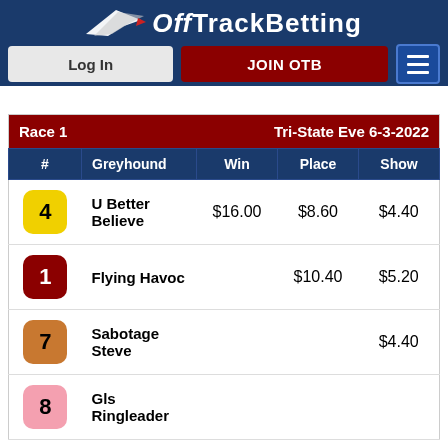OffTrackBetting — Log In | JOIN OTB
| # | Greyhound | Win | Place | Show |
| --- | --- | --- | --- | --- |
| 4 | U Better Believe | $16.00 | $8.60 | $4.40 |
| 1 | Flying Havoc |  | $10.40 | $5.20 |
| 7 | Sabotage Steve |  |  | $4.40 |
| 8 | Gls Ringleader |  |  |  |